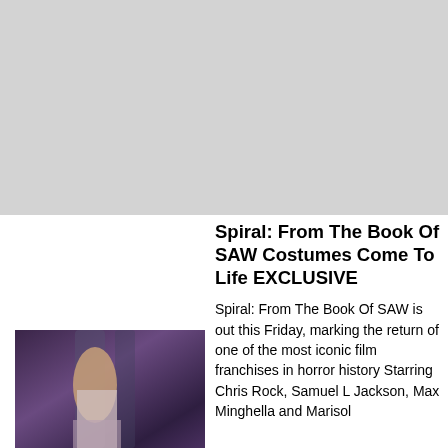[Figure (photo): Large gray placeholder image at the top of the page]
Spiral: From The Book Of SAW Costumes Come To Life EXCLUSIVE
[Figure (photo): Photo of a man in a white shirt standing in a dark industrial setting, appearing to be a movie still from Spiral: From The Book Of SAW]
Spiral: From The Book Of SAW is out this Friday, marking the return of one of the most iconic film franchises in horror history Starring Chris Rock, Samuel L Jackson, Max Minghella and Marisol...